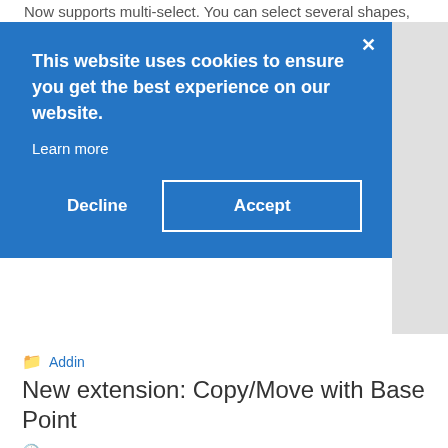Now supports multi-select. You can select several shapes, and change a ShapeSheet cell for all of them at once, so you don't need to edit it for each shape individually. Highlight of
[Figure (screenshot): Cookie consent banner overlay on a website. Blue banner with text 'This website uses cookies to ensure you get the best experience on our website.' and 'Learn more' link, plus Decline and Accept buttons. A close X button in top right. Right side shows partial gray area. Behind the banner is a blue article card with 'continue reading' link.]
Addin
New extension: Copy/Move with Base Point
26/05/2013
Many drawing products feature so-called base point